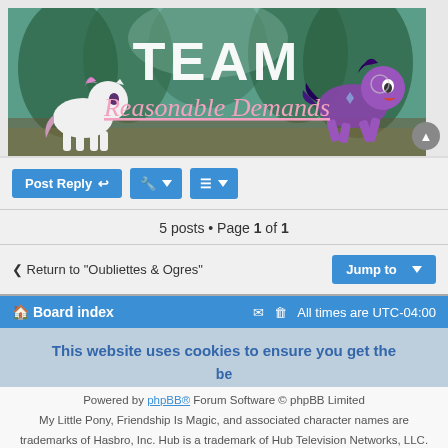[Figure (illustration): Forum banner image showing 'TEAM Reasonable Demands' with My Little Pony characters (Sweetie Belle and Rarity) on a forest background. Large white bold text 'TEAM' and pink italic underlined script 'Reasonable Demands' below.]
Post Reply | tool icon | sort icon
5 posts • Page 1 of 1
< Return to "Oubliettes & Ogres"
Jump to
Board index | All times are UTC-04:00
This website uses cookies to ensure you get the best experience on our website.
Powered by phpBB® Forum Software © phpBB Limited
My Little Pony, Friendship Is Magic, and associated character names are trademarks of Hasbro, Inc. Hub is a trademark of Hub Television Networks, LLC. Use of these trademarks does not imply endorsement by their owners of the content or opinions expressed on these forums.
Titling font is derived from Arvo by Anton Koovit, released under the SIL Open Font License v1.1. Certain icons have been derived from Font Awesome and JustVector Social Icons, released under the Creative Commons Attribution 3.0 and Free Art License 1.3 respectively.